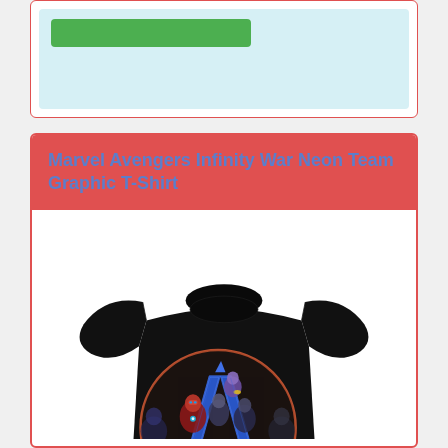[Figure (screenshot): Top card section with light blue background and a green button element visible at the top of the page]
Marvel Avengers Infinity War Neon Team Graphic T-Shirt
[Figure (photo): Black Marvel Avengers Infinity War Neon Team Graphic T-Shirt featuring the Avengers 'A' logo filled with characters including Iron Man, Thanos, and other heroes on a dark background with neon blue accents]